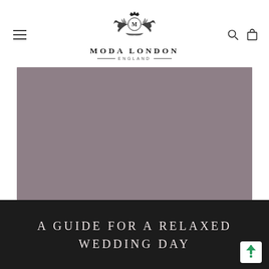MODA LONDON ENGLAND
[Figure (photo): Large rectangular photo placeholder with a muted mauve/taupe grey color filling the hero image area]
A GUIDE FOR A RELAXED WEDDING DAY